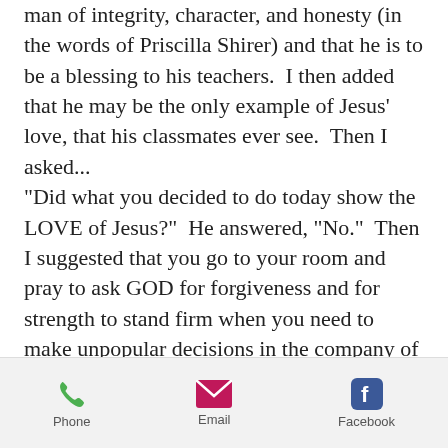man of integrity, character, and honesty (in the words of Priscilla Shirer) and that he is to be a blessing to his teachers.  I then added that he may be the only example of Jesus' love, that his classmates ever see.  Then I asked... "Did what you decided to do today show the LOVE of Jesus?"  He answered, "No."  Then I suggested that you go to your room and pray to ask GOD for forgiveness and for strength to stand firm when you need to make unpopular decisions in the company of your friends.  And he did.

This morning he said, "Mom, I didn't sleep well at all.  I tossed and turned all